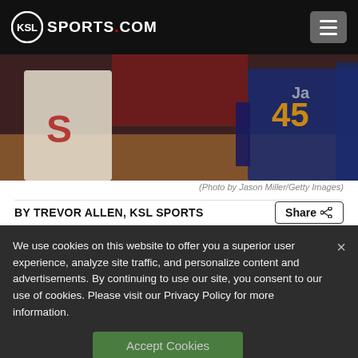KSL SPORTS.COM
[Figure (photo): Basketball game photo showing two players, one in white uniform and one in Utah Jazz navy/gold uniform number 45]
(Photo by Jason Miller/Getty Images)
BY TREVOR ALLEN, KSL SPORTS
We use cookies on this website to offer you a superior user experience, analyze site traffic, and personalize content and advertisements. By continuing to use our site, you consent to our use of cookies. Please visit our Privacy Policy for more information.
Accept Cookies